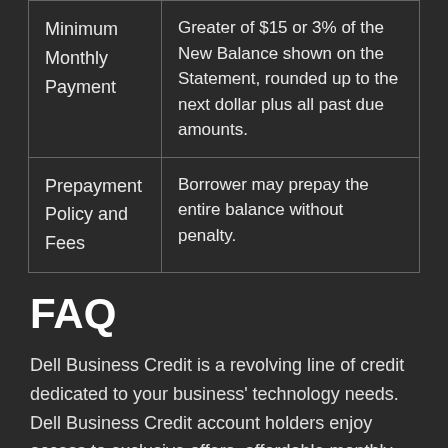| Minimum Monthly Payment | Greater of $15 or 3% of the New Balance shown on the Statement, rounded up to the next dollar plus all past due amounts. |
| Prepayment Policy and Fees | Borrower may prepay the entire balance without penalty. |
FAQ
Dell Business Credit is a revolving line of credit dedicated to your business' technology needs. Dell Business Credit account holders enjoy access to exclusive offers, affordable monthly payments, and seamless integration into Dell's sales process